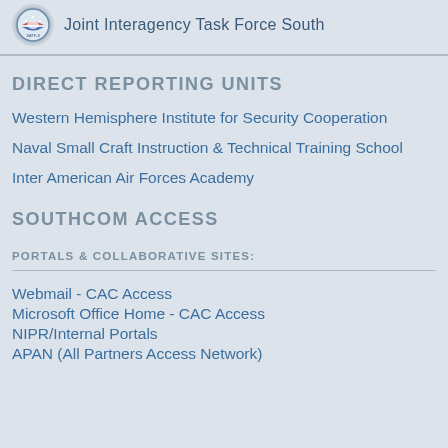Joint Interagency Task Force South
DIRECT REPORTING UNITS
Western Hemisphere Institute for Security Cooperation
Naval Small Craft Instruction & Technical Training School
Inter American Air Forces Academy
SOUTHCOM ACCESS
PORTALS & COLLABORATIVE SITES:
Webmail - CAC Access
Microsoft Office Home - CAC Access
NIPR/Internal Portals
APAN (All Partners Access Network)